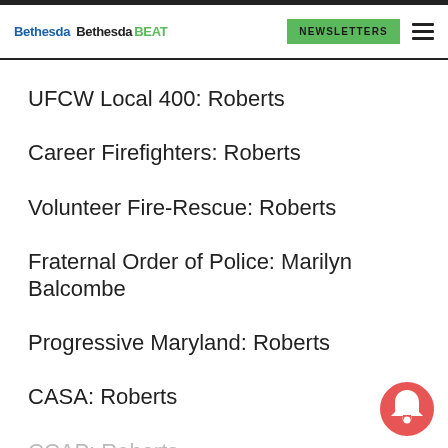Bethesda Bethesda BEAT | NEWSLETTERS
UFCW Local 400: Roberts
Career Firefighters: Roberts
Volunteer Fire-Rescue: Roberts
Fraternal Order of Police: Marilyn Balcombe
Progressive Maryland: Roberts
CASA: Roberts
CCAP: Roberts